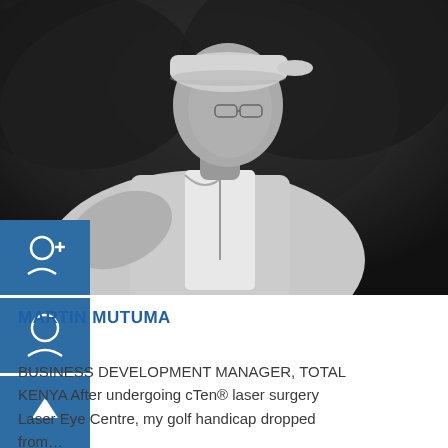[Figure (photo): Black and white photo of Martin Mutuma, a man wearing a polo shirt and cap, photographed from the side/three-quarter view on a golf course with trees in the background]
MARTIN MUTUMA
BUSINESS DEVELOPMENT MANAGER, TOTAL KENYA After undergoing cTen® laser surgery Laser Eye Centre, my golf handicap dropped from...